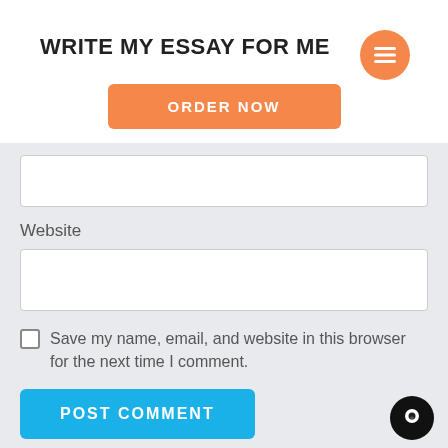WRITE MY ESSAY FOR ME
[Figure (screenshot): Orange ORDER NOW button]
[Figure (screenshot): Orange circular hamburger menu button in top right]
[Figure (screenshot): White input text box (partially visible, top cut off)]
Website
[Figure (screenshot): White input text box for website field]
Save my name, email, and website in this browser for the next time I comment.
[Figure (screenshot): POST COMMENT blue button]
[Figure (screenshot): Black circular chat button in bottom right]